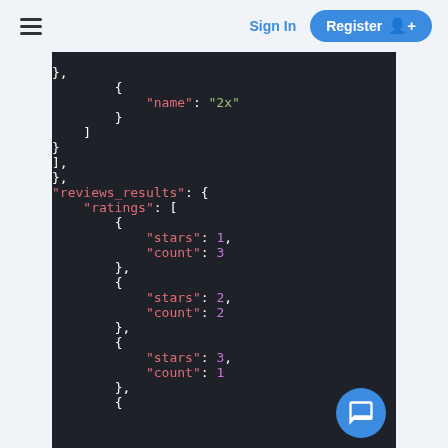Sign In  Register
[Figure (screenshot): Dark-themed JSON code block showing partial JSON structure with keys: name (2x), reviews_results with ratings array containing objects with stars and count fields (stars:1 count:3, stars:2 count:2, stars:3 count:1)]